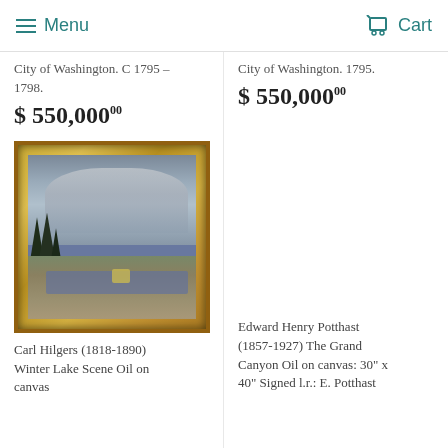Menu | Cart
City of Washington. C 1795 – 1798.
$ 550,000 00
City of Washington. 1795.
$ 550,000 00
[Figure (photo): Oil painting of a winter lake scene in an ornate gold frame. The painting shows a dramatic cloudy sky over a lake with pine trees and figures in the foreground.]
Carl Hilgers (1818-1890) Winter Lake Scene Oil on canvas
Edward Henry Potthast (1857-1927) The Grand Canyon Oil on canvas: 30" x 40" Signed l.r.: E. Potthast